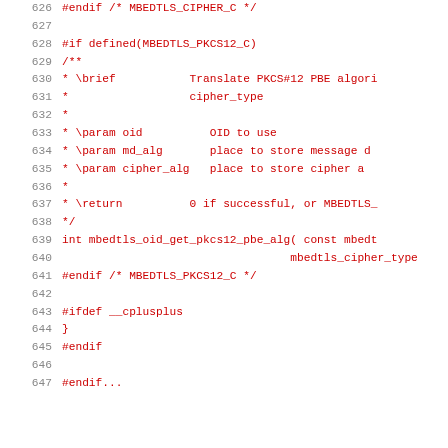626  #endif /* MBEDTLS_CIPHER_C */
627  
628  #if defined(MBEDTLS_PKCS12_C)
629  /**
630   * \brief           Translate PKCS#12 PBE algori
631   *                  cipher_type
632   *
633   * \param oid           OID to use
634   * \param md_alg        place to store message d
635   * \param cipher_alg    place to store cipher a
636   *
637   * \return          0 if successful, or MBEDTLS_
638   */
639  int mbedtls_oid_get_pkcs12_pbe_alg( const mbedt
640                                      mbedtls_cipher_type
641  #endif /* MBEDTLS_PKCS12_C */
642  
643  #ifdef __cplusplus
644  }
645  #endif
646  
647  #endif...